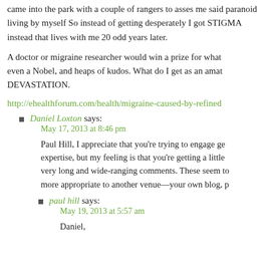came into the park with a couple of rangers to asses me said paranoid living by myself So instead of getting desperately I got STIGMA instead that lives with me 20 odd years later.
A doctor or migraine researcher would win a prize for what even a Nobel, and heaps of kudos. What do I get as an amat DEVASTATION.
http://ehealthforum.com/health/migraine-caused-by-refined
Daniel Loxton says:
May 17, 2013 at 8:46 pm

Paul Hill, I appreciate that you're trying to engage ge expertise, but my feeling is that you're getting a little very long and wide-ranging comments. These seem to more appropriate to another venue—your own blog, p
paul hill says:
May 19, 2013 at 5:57 am

Daniel,